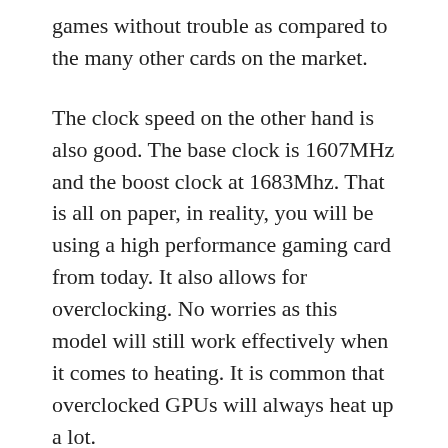games without trouble as compared to the many other cards on the market.
The clock speed on the other hand is also good. The base clock is 1607MHz and the boost clock at 1683Mhz. That is all on paper, in reality, you will be using a high performance gaming card from today. It also allows for overclocking. No worries as this model will still work effectively when it comes to heating. It is common that overclocked GPUs will always heat up a lot.
The model’s design is all about the NVidia Pascal Architecture. This type of construction is to make